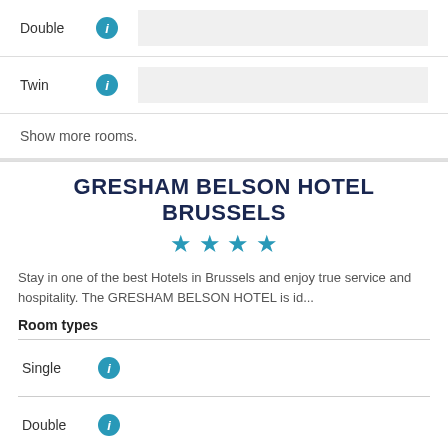Double (info)
Twin (info)
Show more rooms.
GRESHAM BELSON HOTEL BRUSSELS
★★★★
Stay in one of the best Hotels in Brussels and enjoy true service and hospitality. The GRESHAM BELSON HOTEL is id...
Room types
Single (info)
Double (info)
Twin (info)